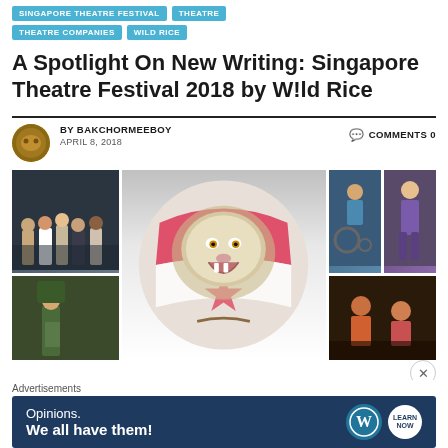SINGAPORE THEATRE FESTIVAL
THEATRE
THEATRE COMPANIES
WILD RICE
A Spotlight On New Writing: Singapore Theatre Festival 2018 by W!ld Rice
BY BAKCHORMEEBOY
APRIL 8, 2018
COMMENTS 0
[Figure (photo): Collage of production photos for Singapore Theatre Festival 2018 by Wild Rice: group of office workers, animated lion with Singapore flag, soldier, people in various scenes]
Advertisements
[Figure (other): Advertisement banner: Opinions. We all have them! with WordPress logo and circular logo]